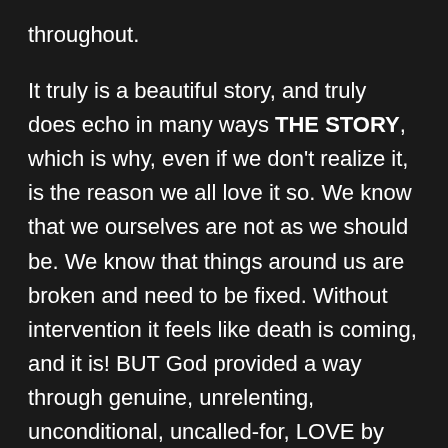throughout.

It truly is a beautiful story, and truly does echo in many ways THE STORY, which is why, even if we don't realize it, is the reason we all love it so. We know that we ourselves are not as we should be. We know that things around us are broken and need to be fixed. Without intervention it feels like death is coming, and it is! BUT God provided a way through genuine, unrelenting, unconditional, uncalled-for, LOVE by sending Jesus to not only be willing to sacrifice His life but to actually sacrifice His life so that we might truly live. Just as spring faithfully blooms and bursts forth from the dead of winter, He faithfully brings life to our dead lives. All is made new and hope restored. Yes, there is a reason why we love these stories. It is because written in our hearts is...